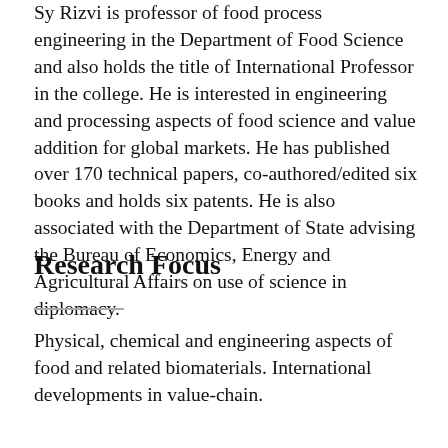Sy Rizvi is professor of food process engineering in the Department of Food Science and also holds the title of International Professor in the college. He is interested in engineering and processing aspects of food science and value addition for global markets. He has published over 170 technical papers, co-authored/edited six books and holds six patents. He is also associated with the Department of State advising the Bureau of Economics, Energy and Agricultural Affairs on use of science in diplomacy.
Research Focus
Physical, chemical and engineering aspects of food and related biomaterials. International developments in value-chain.